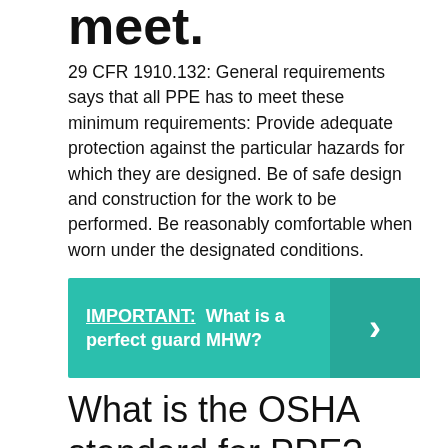meet.
29 CFR 1910.132: General requirements says that all PPE has to meet these minimum requirements: Provide adequate protection against the particular hazards for which they are designed. Be of safe design and construction for the work to be performed. Be reasonably comfortable when worn under the designated conditions.
[Figure (infographic): Teal/green callout box with bold white text reading 'IMPORTANT: What is a perfect guard MHW?' with an arrow/chevron on the right side in a darker teal panel.]
What is the OSHA standard for PPE?